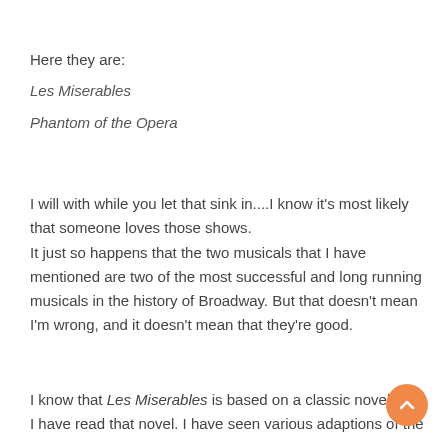Here they are:
Les Miserables
Phantom of the Opera
I will with while you let that sink in....I know it's most likely that someone loves those shows. It just so happens that the two musicals that I have mentioned are two of the most successful and long running musicals in the history of Broadway. But that doesn't mean I'm wrong, and it doesn't mean that they're good.
I know that Les Miserables is based on a classic novel, and I have read that novel. I have seen various adaptions of the